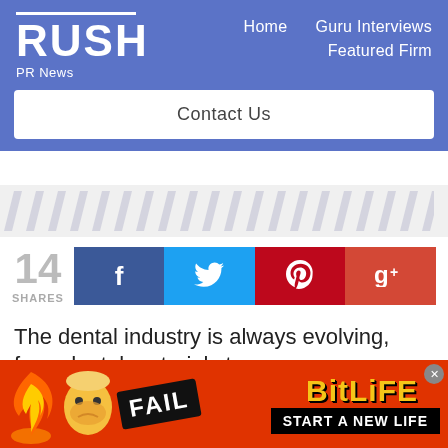RUSH PR News — Home | Guru Interviews | Featured Firm | Contact Us
[Figure (illustration): Diagonal light gray hash/stripe decorative pattern on light background]
14 SHARES
[Figure (infographic): Social share buttons: Facebook (f), Twitter (bird), Pinterest (p), Google+ (g)]
The dental industry is always evolving, from dental materials to
[Figure (illustration): BitLife advertisement banner with FAIL text, flame graphic, and START A NEW LIFE tagline]